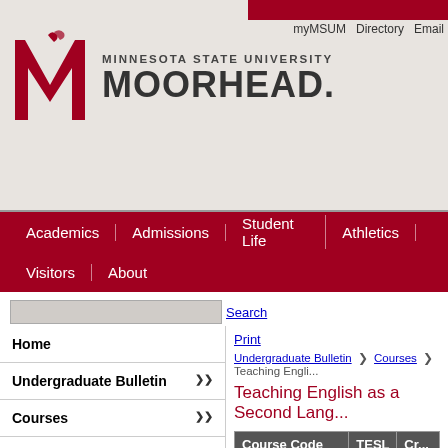[Figure (logo): Minnesota State University Moorhead logo with red M and university wordmark]
myMSUM   Directory   Email
Academics | Admissions | Student Life | Athletics | Visitors | About
Search  Print
Undergraduate Bulletin > Courses > Teaching Engli...
Teaching English as a Second Lang...
| Course Code | TESL 451 | Cr... |
| --- | --- | --- |
| Title | English Structu... |  |
| Course Outline | Course Outline |  |
| Description | An overview of... survey of the hi... semantics, pra... application of th... |  |
Home
Undergraduate Bulletin
Courses
Accounting
American Multicultural Studies
Animation